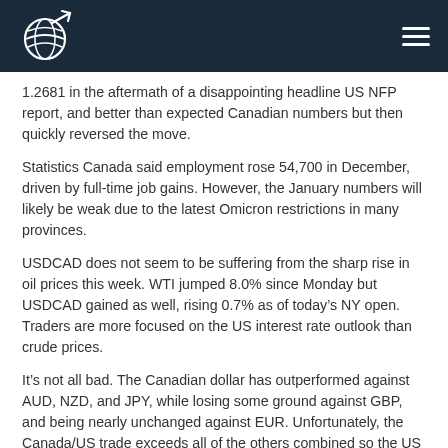[Logo] [Navigation menu icon]
1.2681 in the aftermath of a disappointing headline US NFP report, and better than expected Canadian numbers but then quickly reversed the move.
Statistics Canada said employment rose 54,700 in December, driven by full-time job gains. However, the January numbers will likely be weak due to the latest Omicron restrictions in many provinces.
USDCAD does not seem to be suffering from the sharp rise in oil prices this week. WTI jumped 8.0% since Monday but USDCAD gained as well, rising 0.7% as of today’s NY open. Traders are more focused on the US interest rate outlook than crude prices.
It’s not all bad. The Canadian dollar has outperformed against AUD, NZD, and JPY, while losing some ground against GBP, and being nearly unchanged against EUR. Unfortunately, the Canada/US trade exceeds all of the others combined so the US dollar is what counts.